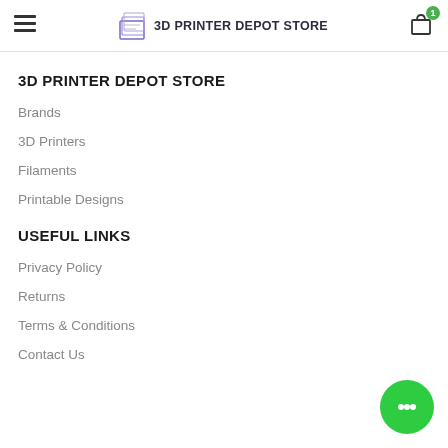3D PRINTER DEPOT STORE — navigation bar with hamburger menu, logo, and cart icon
3D PRINTER DEPOT STORE
Brands
3D Printers
Filaments
Printable Designs
USEFUL LINKS
Privacy Policy
Returns
Terms & Conditions
Contact Us
[Figure (illustration): Green circular chat button with speech bubble icon in bottom right corner]